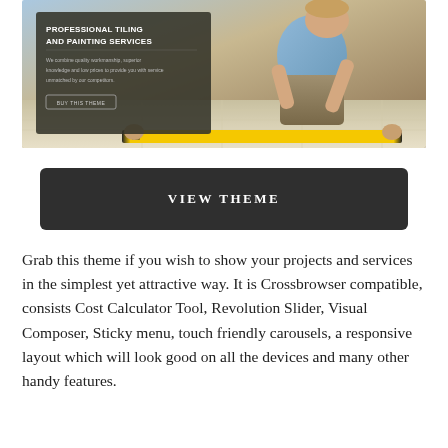[Figure (screenshot): Screenshot of a professional tiling and painting services website theme. Shows a hero image of a worker laying floor tiles with a yellow spirit level. An overlay box displays the headline 'PROFESSIONAL TILING AND PAINTING SERVICES' with descriptive text and a 'BUY THIS THEME' button.]
VIEW THEME
Grab this theme if you wish to show your projects and services in the simplest yet attractive way. It is Crossbrowser compatible, consists Cost Calculator Tool, Revolution Slider, Visual Composer, Sticky menu, touch friendly carousels, a responsive layout which will look good on all the devices and many other handy features.